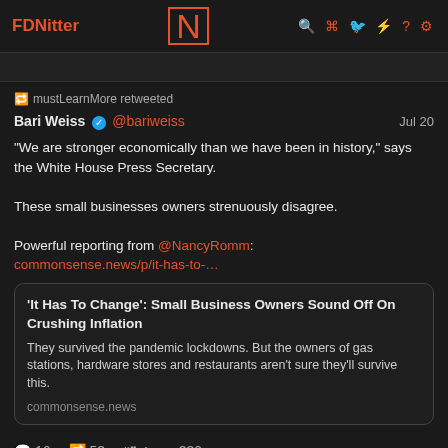FDNitter | N | search rss twitter ? settings icons
mustLearnMore retweeted
Bari Weiss ✓ @bariweiss  Jul 20
"We are stronger economically than we have been in history," says the White House Press Secretary.

These small businesses owners strenuously disagree.

Powerful reporting from @NancyRomm:
commonsense.news/p/it-has-to-...
[Figure (screenshot): Embedded article card with title 'It Has To Change': Small Business Owners Sound Off On Crushing Inflation, description text, and domain commonsense.news]
💬 16  🔁 53  📣 4  ❤ 230
mustLearnMore @mustLearnMore  Jul 20